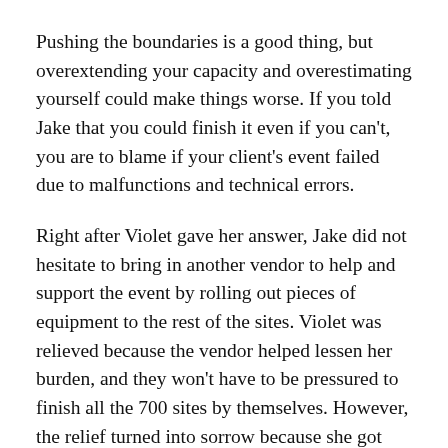Pushing the boundaries is a good thing, but overextending your capacity and overestimating yourself could make things worse. If you told Jake that you could finish it even if you can't, you are to blame if your client's event failed due to malfunctions and technical errors.
Right after Violet gave her answer, Jake did not hesitate to bring in another vendor to help and support the event by rolling out pieces of equipment to the rest of the sites. Violet was relieved because the vendor helped lessen her burden, and they won't have to be pressured to finish all the 700 sites by themselves. However, the relief turned into sorrow because she got into trouble with the CEO and the VP of operations of